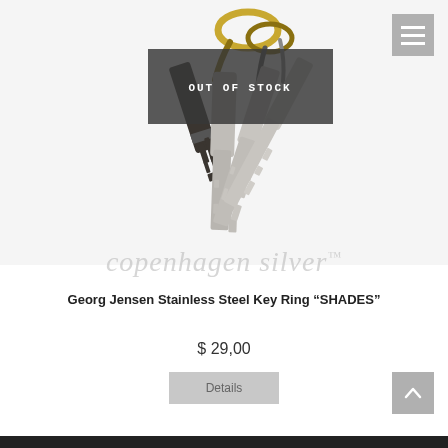[Figure (photo): Product photo of Georg Jensen Stainless Steel Key Ring SHADES - multiple metal keys on a gold-tone ring against a light background, with an 'OUT OF STOCK' overlay banner]
copenhagen silver™
Georg Jensen Stainless Steel Key Ring "SHADES"
$ 29,00
Details